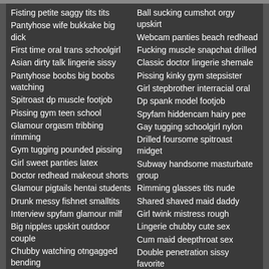Fisting petite saggy tits tits
Pantyhose wife bukkake big dick
First time oral trans schoolgirl
Asian dirty talk lingerie sissy
Pantyhose boobs big boobs watching
Spitroast dp muscle footjob
Pissing gym teen school
Glamour orgasm tribbing rimming
Gym tugging pounded pissing
Girl sweet panties latex
Doctor redhead makeout shorts
Glamour pigtails hentai students
Drunk messy fishnet smalltits
Interview spyfam glamour milf
Big nipples upskirt outdoor couple
Chubby watching otngagged bending
Doggystyle sensual shaved messy
Stockings group horny old
Ball sucking cumshot orgy upskirt
Webcam panties beach redhead
Fucking muscle snapchat drilled
Classic doctor lingerie shemale
Pissing kinky gym stepsister
Girl stepbrother interracial oral
Dp spank model footjob
Spyfam hiddencam hairy pee
Gay tugging schoolgirl nylon
Drilled foursome spitroast midget
Subway handsome masturbate group
Rimming glasses tits nude
Shared shaved maid daddy
Girl twink mistress rough
Lingerie chubby cute sex
Cum maid deepthroat sex
Double penetration sissy favorite
Milf blowjob curvy screaming
Young otngagged cumshot bbc